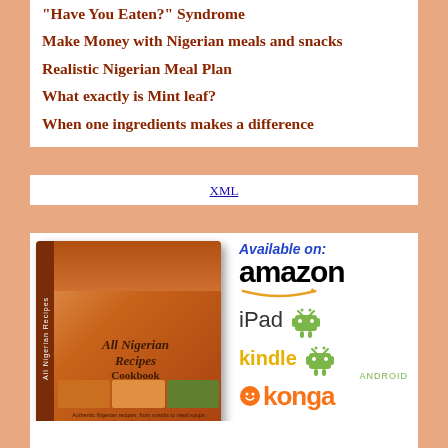Have You Eaten? Syndrome
Make Money with Nigerian meals and snacks
Realistic Nigerian Meal Plan
What exactly is Mint leaf?
When one ingredients makes a difference
[Figure (other): Orange/salmon colored horizontal banner bar]
[Figure (other): XML link image/icon in center]
[Figure (other): Orange/salmon colored horizontal banner bar]
[Figure (other): Promotional image showing All Nigerian Recipes Cookbook cover on left and Available on Amazon, iPad, kindle, Android, konga logos on right]